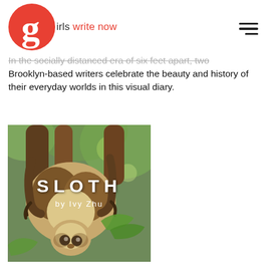girls write now
In the socially distanced era of six feet apart, two Brooklyn-based writers celebrate the beauty and history of their everyday worlds in this visual diary.
[Figure (photo): Photo of a sloth hanging from tree branches in a jungle setting, with overlaid white text reading 'SLOTH by Ivy Zhu']